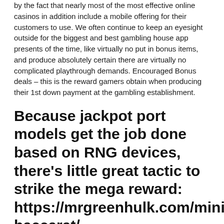by the fact that nearly most of the most effective online casinos in addition include a mobile offering for their customers to use. We often continue to keep an eyesight outside for the biggest and best gambling house app presents of the time, like virtually no put in bonus items, and produce absolutely certain there are virtually no complicated playthrough demands. Encouraged Bonus deals – this is the reward gamers obtain when producing their 1st down payment at the gambling establishment.
Because jackpot port models get the job done based on RNG devices, there's little great tactic to strike the mega reward: https://mrgreenhulk.com/mini-baccarat/
We have a look at an important assortment of medicine and